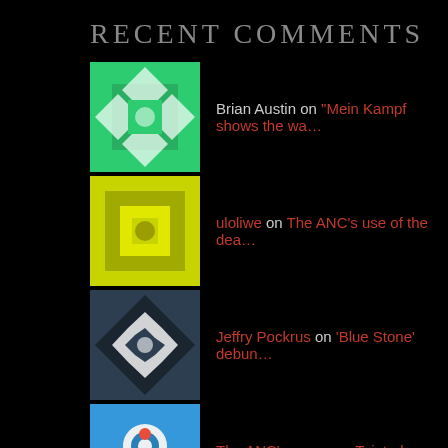RECENT COMMENTS
Brian Austin on "Mein Kampf shows the wa…"
uloliwe on The ANC's use of the dea…
Jeffry Pockrus on 'Blue Stone' debun…
The ANC's use… on Tainted "Military Heroes…"
fica on "Mein Kampf shows the wa…"
ARCHIVES